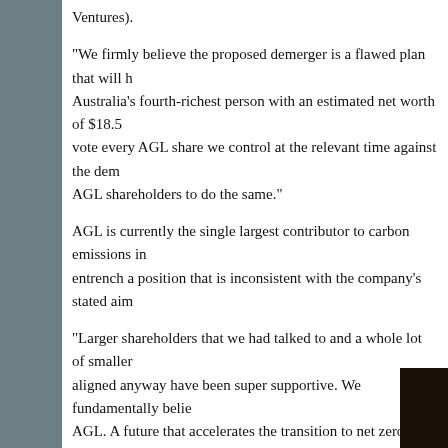Ventures).
“We firmly believe the proposed demerger is a flawed plan that will h… Australia’s fourth-richest person with an estimated net worth of $18.5… vote every AGL share we control at the relevant time against the dem… AGL shareholders to do the same.”
AGL is currently the single largest contributor to carbon emissions in… entrench a position that is inconsistent with the company’s stated aim…
“Larger shareholders that we had talked to and a whole lot of smaller… aligned anyway have been super supportive. We fundamentally belie… AGL. A future that accelerates the transition to net zero,” Cannon-Br…
AGL shareholders will vote on the proposed demerger, which needs …
Amancio Ortega’s family office buys Glasgow office development for £215 million
Amancio Ortega, the Spanish billionaire founder of Inditex